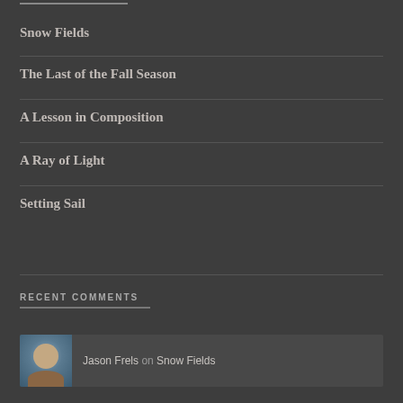Snow Fields
The Last of the Fall Season
A Lesson in Composition
A Ray of Light
Setting Sail
RECENT COMMENTS
Jason Frels on Snow Fields